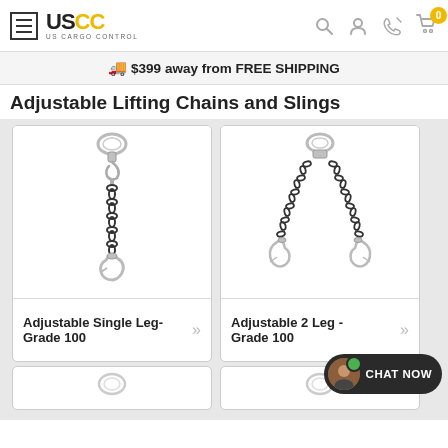US Cargo Control - navigation header with hamburger menu, logo, search, account, phone, and cart icons
$399 away from FREE SHIPPING
Adjustable Lifting Chains and Slings
[Figure (photo): Product photo of Adjustable Single Leg Grade 100 chain sling with single hook at top and bottom]
Adjustable Single Leg- Grade 100
[Figure (photo): Product photo of Adjustable 2 Leg Grade 100 chain sling with two hooks at the bottom]
Adjustable 2 Leg - Grade 100